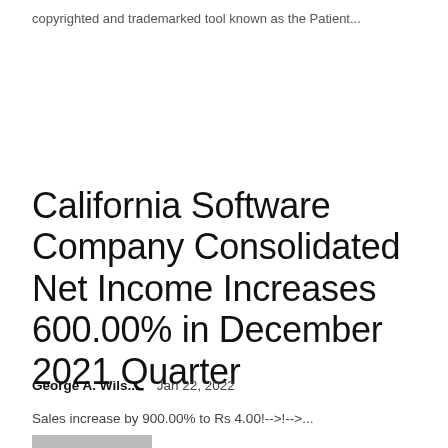copyrighted and trademarked tool known as the Patient...
California Software Company Consolidated Net Income Increases 600.00% in December 2021 Quarter
George A. Wils...    Jan 22, 2022
Sales increase by 900.00% to Rs 4.00!-->!-->...
[Figure (photo): Thumbnail image partially visible at bottom of page]